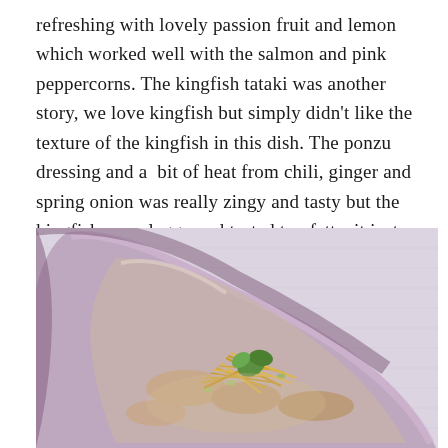refreshing with lovely passion fruit and lemon which worked well with the salmon and pink peppercorns. The kingfish tataki was another story, we love kingfish but simply didn't like the texture of the kingfish in this dish. The ponzu dressing and a bit of heat from chili, ginger and spring onion was really zingy and tasty but the kingfish was claggy and tasted too fatty, it just didn't work for us. In fact we didn't finish it.
[Figure (photo): Close-up photo of a dish served in a triangular purple/mauve ceramic plate on a light lavender cloth. The dish contains pieces of fish (kingfish tataki) topped with golden fried shredded garnish, green herb leaves (microgreens), and sliced spring onions in a light sauce.]